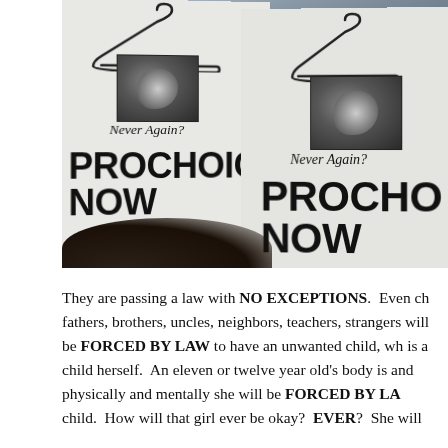[Figure (photo): Protesters holding signs that read 'PROCHOICE NOW' with coat hanger imagery and 'Never Again?' text, along with a fetal ultrasound image on each sign.]
They are passing a law with NO EXCEPTIONS. Even children who are raped by their fathers, brothers, uncles, neighbors, teachers, strangers will be FORCED BY LAW to have an unwanted child, who is a child herself. An eleven or twelve year old's body is not ready, and physically and mentally she will be FORCED BY LAW to have a child. How will that girl ever be okay? EVER? She will...